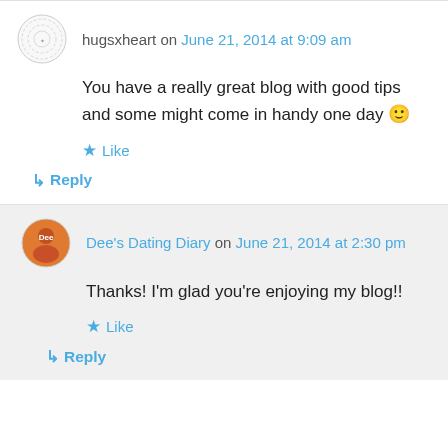hugsxheart on June 21, 2014 at 9:09 am
You have a really great blog with good tips and some might come in handy one day 🙂
Like
↳ Reply
Dee's Dating Diary on June 21, 2014 at 2:30 pm
Thanks! I'm glad you're enjoying my blog!!
Like
↳ Reply